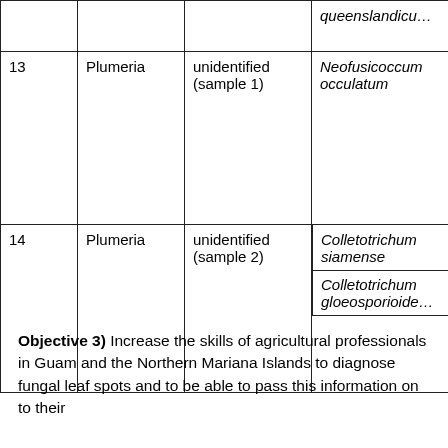|  | Host | Disease | Pathogen |
| --- | --- | --- | --- |
|  |  |  | queenslandicu… |
| 13 | Plumeria | unidentified (sample 1) | Neofusicoccum occulatum |
| 14 | Plumeria | unidentified (sample 2) | Colletotrichum siamense
Colletotrichum gloeosporioide… |
Objective 3) Increase the skills of agricultural professionals in Guam and the Northern Mariana Islands to diagnose fungal leaf spots and to be able to pass this information on to their